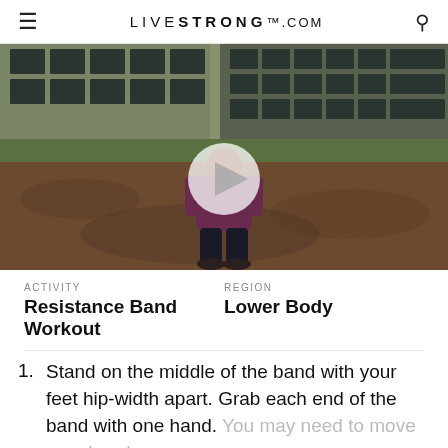LIVESTRONG.COM
[Figure (photo): Person standing outdoors on a dirt field near a building with large windows, viewed from behind. A large play button overlay appears in the center of the video thumbnail.]
ACTIVITY
Resistance Band Workout
REGION
Lower Body
Stand on the middle of the band with your feet hip-width apart. Grab each end of the band with one hand. You may need to move your hands